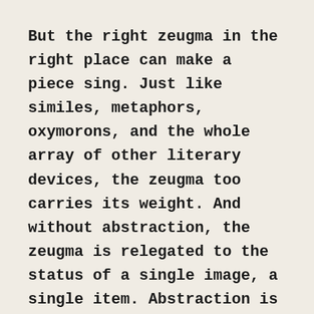But the right zeugma in the right place can make a piece sing. Just like similes, metaphors, oxymorons, and the whole array of other literary devices, the zeugma too carries its weight. And without abstraction, the zeugma is relegated to the status of a single image, a single item. Abstraction is necessary for this device and so many others to work.
“Everything in moderation,” the old saying goes, and in poetry as in life, this cliche actually holds true. Plenty of concrete imagery mixed with the right amount of abstract language can